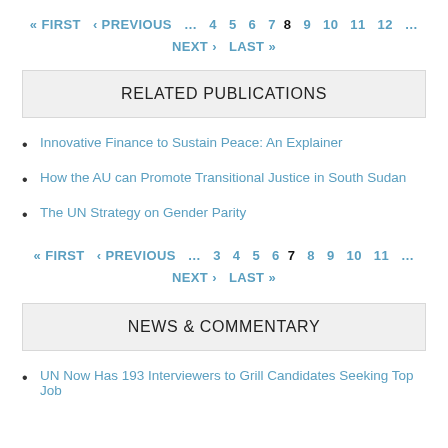« FIRST ‹ PREVIOUS … 4 5 6 7 8 9 10 11 12 … NEXT › LAST »
RELATED PUBLICATIONS
Innovative Finance to Sustain Peace: An Explainer
How the AU can Promote Transitional Justice in South Sudan
The UN Strategy on Gender Parity
« FIRST ‹ PREVIOUS … 3 4 5 6 7 8 9 10 11 … NEXT › LAST »
NEWS & COMMENTARY
UN Now Has 193 Interviewers to Grill Candidates Seeking Top Job